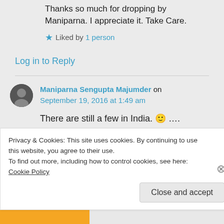Thanks so much for dropping by Maniparna. I appreciate it. Take Care.
★ Liked by 1 person
Log in to Reply
Maniparna Sengupta Majumder on September 19, 2016 at 1:49 am
There are still a few in India. 🙂 ….
★ Liked by 1 person
Privacy & Cookies: This site uses cookies. By continuing to use this website, you agree to their use.
To find out more, including how to control cookies, see here: Cookie Policy
Close and accept